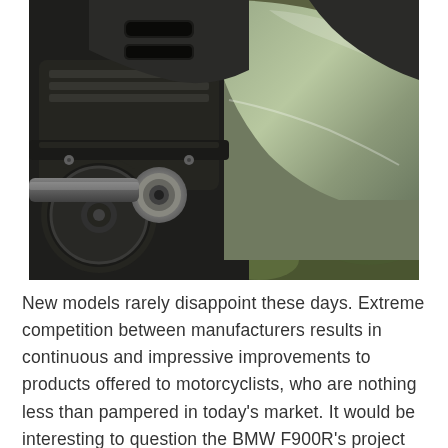[Figure (photo): Close-up photograph of a motorcycle's rear wheel and exhaust area, showing dark engine components, a brake disc, exhaust bolts, and a large olive-green/grey side panel or luggage case. Green foliage visible in the background.]
New models rarely disappoint these days. Extreme competition between manufacturers results in continuous and impressive improvements to products offered to motorcyclists, who are nothing less than pampered in today's market. It would be interesting to question the BMW F900R's project leaders concerning their decisions. During the technical presentation, it was regularly mentioned that BMW wants to attract